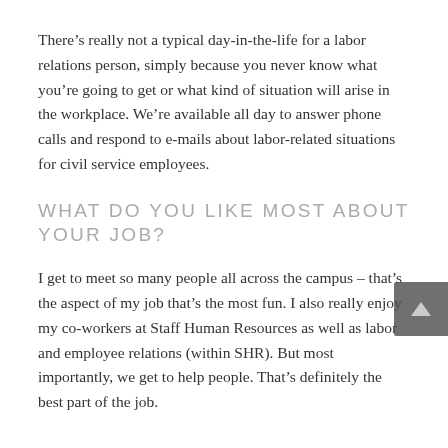There's really not a typical day-in-the-life for a labor relations person, simply because you never know what you're going to get or what kind of situation will arise in the workplace. We're available all day to answer phone calls and respond to e-mails about labor-related situations for civil service employees.
WHAT DO YOU LIKE MOST ABOUT YOUR JOB?
I get to meet so many people all across the campus – that's the aspect of my job that's the most fun. I also really enjoy my co-workers at Staff Human Resources as well as labor and employee relations (within SHR). But most importantly, we get to help people. That's definitely the best part of the job.